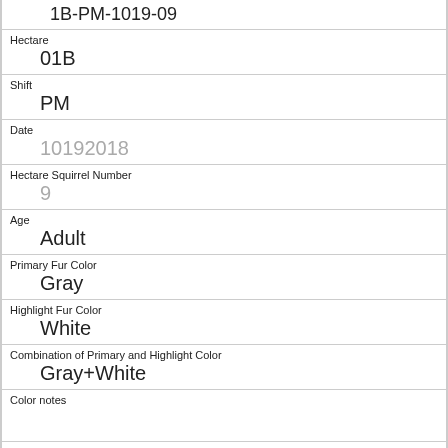1B-PM-1019-09
Hectare
01B
Shift
PM
Date
10192018
Hectare Squirrel Number
9
Age
Adult
Primary Fur Color
Gray
Highlight Fur Color
White
Combination of Primary and Highlight Color
Gray+White
Color notes
Location
Ground Plane